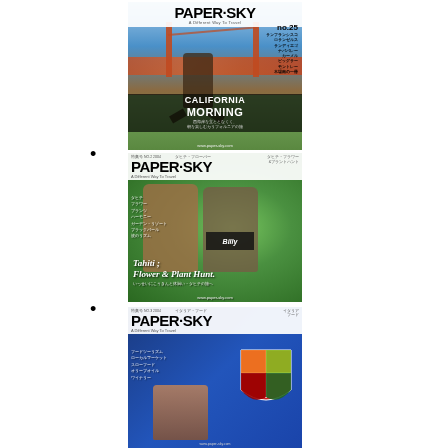[Figure (photo): PAPER-SKY magazine cover featuring California Morning issue. Shows a person jumping in front of Golden Gate Bridge with text 'CALIFORNIA MORNING' and Japanese subtitle text.]
[Figure (photo): PAPER-SKY magazine cover featuring Tahiti Flower & Plant Hunt issue. Shows two people posing outdoors amid tropical greenery with title text in italic script.]
[Figure (photo): PAPER-SKY magazine cover (partially visible) featuring a colorful shield/crest logo on blue background with a person visible at bottom.]